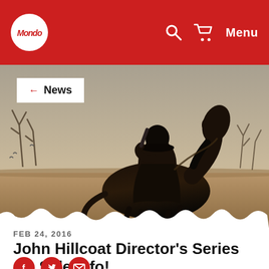Mondo — Menu
[Figure (illustration): Dark ink illustration of a man in a long coat riding a black horse across a barren, post-apocalyptic landscape with dead trees and a muted sepia-toned sky.]
← News
FEB 24, 2016
John Hillcoat Director's Series On Sale Info!